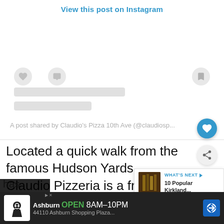View this post on Instagram
[Figure (screenshot): Instagram embed placeholder with skeleton loading bars, heart and comment icons, bookmark icon, and attribution text 'A post shared by Claudio's Pizza 10th Ave (@claudiosp...']
Located a quick walk from the famous Hudson Yards, Claudio Pizzeria is a friendly neighborhood pi... friendly staff and quick service. Their small y... does a great delivery and curbside pick-up service but also has... th...
[Figure (infographic): What's Next overlay showing thumbnail image with text '10 Popular Kirkland...' and blue arrow label 'WHAT'S NEXT']
[Figure (infographic): Bottom advertisement bar: Ashburn OPEN 8AM-10PM, 44110 Ashburn Shopping Plaza... with chef logo and blue arrow navigation icon]